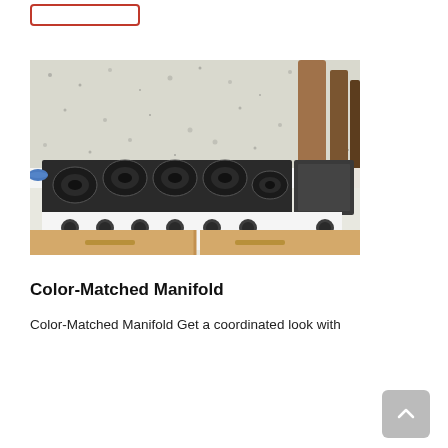[Figure (photo): A white gas cooktop/rangetop with six burners and a griddle section, installed in a kitchen with light wood cabinetry and a granite-style backsplash. Dark knobs visible on the front panel.]
Color-Matched Manifold
Color-Matched Manifold Get a coordinated look with